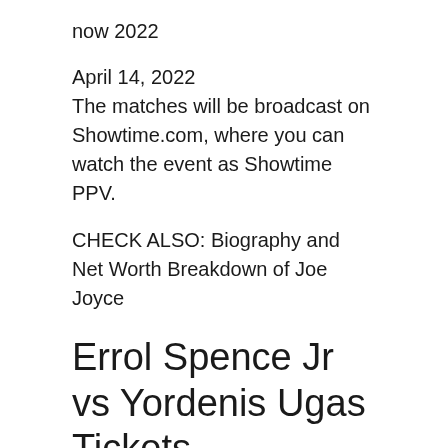now 2022
April 14, 2022
The matches will be broadcast on Showtime.com, where you can watch the event as Showtime PPV.
CHECK ALSO: Biography and Net Worth Breakdown of Joe Joyce
Errol Spence Jr vs Yordenis Ugas Tickets
Tickets for the event will be available on the official website. You can enjoy the broadcast of the matches in the official partners.